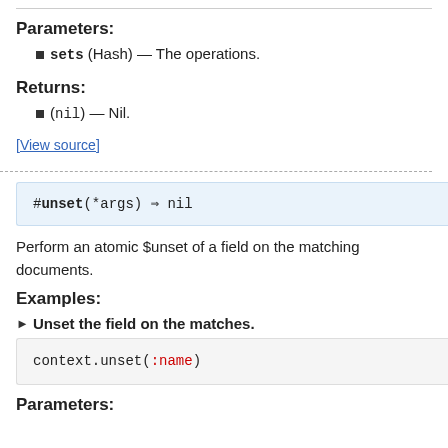Parameters:
sets (Hash) — The operations.
Returns:
(nil) — Nil.
[View source]
#unset(*args) ⇒ nil
Perform an atomic $unset of a field on the matching documents.
Examples:
► Unset the field on the matches.
context.unset(:name)
Parameters: